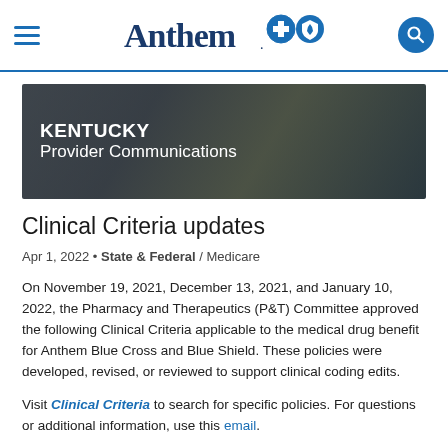Anthem Blue Cross Blue Shield - Kentucky Provider Communications
[Figure (illustration): Kentucky Provider Communications banner image showing a person using a tablet, with text 'KENTUCKY Provider Communications' overlaid on a dark-tinted background]
Clinical Criteria updates
Apr 1, 2022 • State & Federal / Medicare
On November 19, 2021, December 13, 2021, and January 10, 2022, the Pharmacy and Therapeutics (P&T) Committee approved the following Clinical Criteria applicable to the medical drug benefit for Anthem Blue Cross and Blue Shield. These policies were developed, revised, or reviewed to support clinical coding edits.
Visit Clinical Criteria to search for specific policies. For questions or additional information, use this email.